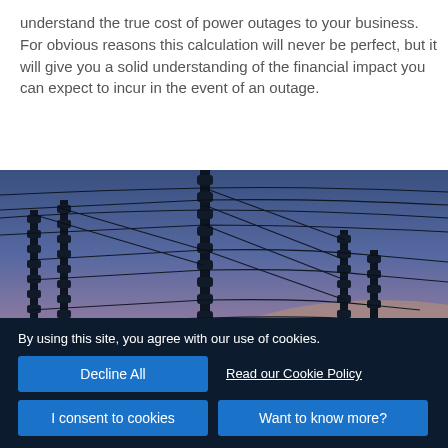understand the true cost of power outages to your business. For obvious reasons this calculation will never be perfect, but it will give you a solid understanding of the financial impact you can expect to incur in the event of an outage.
[Figure (photo): Silhouette of electrical power substation equipment (insulators, wires, transformer structures) against a dusk sky with blue and warm gradient colors.]
By using this site, you agree with our use of cookies.
Decline All
Read our Cookie Policy
I consent to cookies
Want to know more?